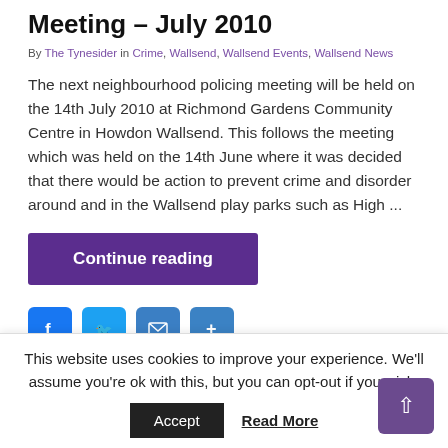Meeting – July 2010
By The Tynesider in Crime, Wallsend, Wallsend Events, Wallsend News
The next neighbourhood policing meeting will be held on the 14th July 2010 at Richmond Gardens Community Centre in Howdon Wallsend. This follows the meeting which was held on the 14th June where it was decided that there would be action to prevent crime and disorder around and in the Wallsend play parks such as High ...
Continue reading
[Figure (other): Social media share icons: Facebook, Twitter, Email, and one more button]
This website uses cookies to improve your experience. We'll assume you're ok with this, but you can opt-out if you wish.
Accept   Read More